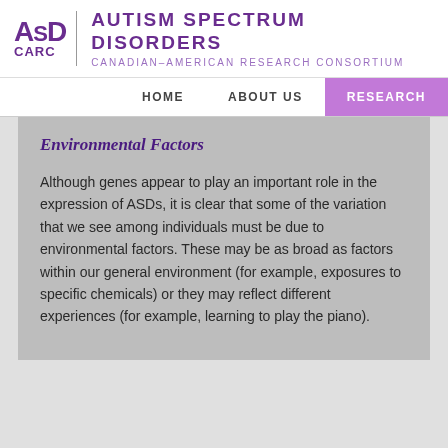[Figure (logo): ASD CARC logo with text: Autism Spectrum Disorders Canadian-American Research Consortium]
HOME   ABOUT US   RESEARCH
Environmental Factors
Although genes appear to play an important role in the expression of ASDs, it is clear that some of the variation that we see among individuals must be due to environmental factors. These may be as broad as factors within our general environment (for example, exposures to specific chemicals) or they may reflect different experiences (for example, learning to play the piano).